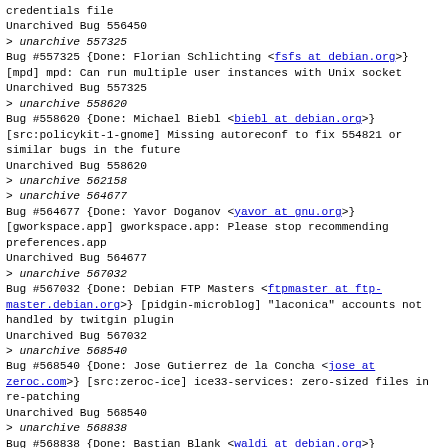credentials file
Unarchived Bug 556450
> unarchive 557325
Bug #557325 {Done: Florian Schlichting <fsfs at debian.org>} [mpd] mpd: Can run multiple user instances with Unix socket
Unarchived Bug 557325
> unarchive 558620
Bug #558620 {Done: Michael Biebl <biebl at debian.org>} [src:policykit-1-gnome] Missing autoreconf to fix 554821 or similar bugs in the future
Unarchived Bug 558620
> unarchive 562158
> unarchive 564677
Bug #564677 {Done: Yavor Doganov <yavor at gnu.org>} [gworkspace.app] gworkspace.app: Please stop recommending preferences.app
Unarchived Bug 564677
> unarchive 567032
Bug #567032 {Done: Debian FTP Masters <ftpmaster at ftp-master.debian.org>} [pidgin-microblog] "laconica" accounts not handled by twitgin plugin
Unarchived Bug 567032
> unarchive 568540
Bug #568540 {Done: Jose Gutierrez de la Concha <jose at zeroc.com>} [src:zeroc-ice] ice33-services: zero-sized files in re-patching
Unarchived Bug 568540
> unarchive 568838
Bug #568838 {Done: Bastian Blank <waldi at debian.org>}